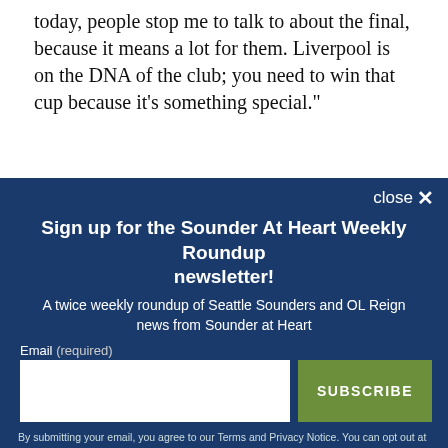today, people stop me to talk to about the final, because it means a lot for them. Liverpool is on the DNA of the club; you need to win that cup because it's something special."
The date of the final is unfortunate for Traoré, given he had just returned from Europe. That said, he didn't...
[Figure (screenshot): Newsletter signup modal overlay with dark blue background. Contains close button, title 'Sign up for the Sounder At Heart Weekly Roundup newsletter!', subtitle text about Seattle Sounders and OL Reign news, an email input field, a green SUBSCRIBE button, and legal disclaimer text.]